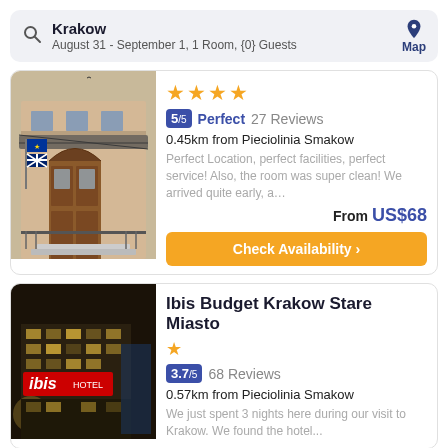Krakow
August 31 - September 1, 1 Room, {0} Guests
[Figure (photo): Hotel facade with arched wooden doors, wrought iron railings, and flags (EU, UK) on the exterior]
★★★★
5/5 Perfect 27 Reviews
0.45km from Pieciolinia Smakow
Perfect Location, perfect facilities, perfect service! Also, the room was super clean! We arrived quite early, a…
From US$68
Check Availability >
Ibis Budget Krakow Stare Miasto
[Figure (photo): Ibis hotel building at night with red illuminated 'ibis HOTEL' sign]
★
3.7/5  68 Reviews
0.57km from Pieciolinia Smakow
We just spent 3 nights here during our visit to Krakow. We found the hotel...